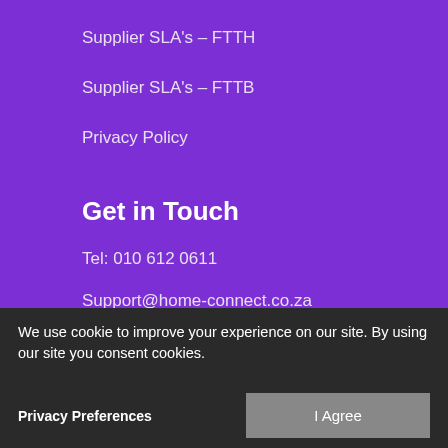Supplier SLA's – FTTH
Supplier SLA's – FTTB
Privacy Policy
Get in Touch
Tel: 010 612 0611
Support@home-connect.co.za
customerservice@home-connect.co.za
We use cookie to improve your experience on our site. By using our site you consent cookies.
Privacy Preferences
I Agree